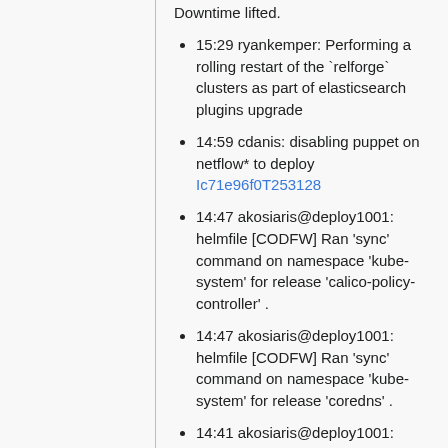Downtime lifted.
15:29 ryankemper: Performing a rolling restart of the `relforge` clusters as part of elasticsearch plugins upgrade
14:59 cdanis: disabling puppet on netflow* to deploy Ic71e96f0T253128
14:47 akosiaris@deploy1001: helmfile [CODFW] Ran 'sync' command on namespace 'kube-system' for release 'calico-policy-controller' .
14:47 akosiaris@deploy1001: helmfile [CODFW] Ran 'sync' command on namespace 'kube-system' for release 'coredns' .
14:41 akosiaris@deploy1001: helmfile [EQIAD] Ran 'sync' command on namespace 'kube-